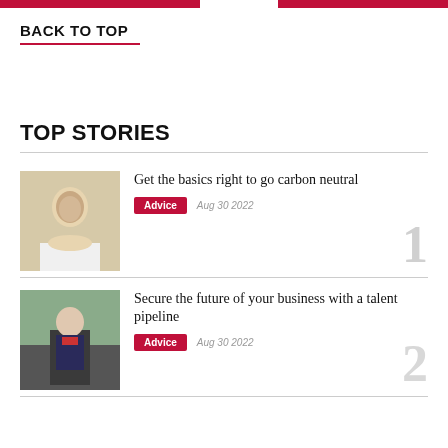BACK TO TOP
TOP STORIES
[Figure (photo): Headshot of a person smiling, wearing a white collared shirt, against a light background]
Get the basics right to go carbon neutral
Advice  Aug 30 2022
[Figure (photo): Headshot of a man in a suit and tie standing outside a building]
Secure the future of your business with a talent pipeline
Advice  Aug 30 2022